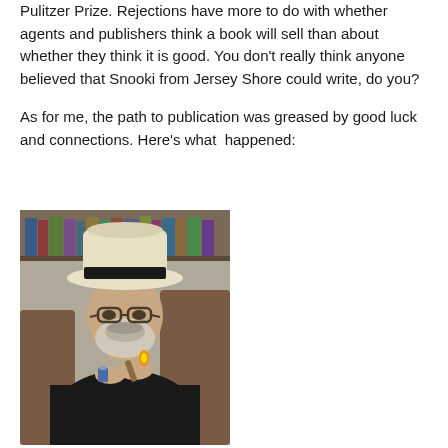Pulitzer Prize. Rejections have more to do with whether agents and publishers think a book will sell than about whether they think it is good. You don't really think anyone believed that Snooki from Jersey Shore could write, do you?

As for me, the path to publication was greased by good luck and connections. Here's what  happened:
[Figure (photo): A man wearing a white Panama hat with a dark band, glasses, and a beard and mustache, lighting a cigar with a lighter. He is wearing a dark jacket. In the background are bookshelves.]